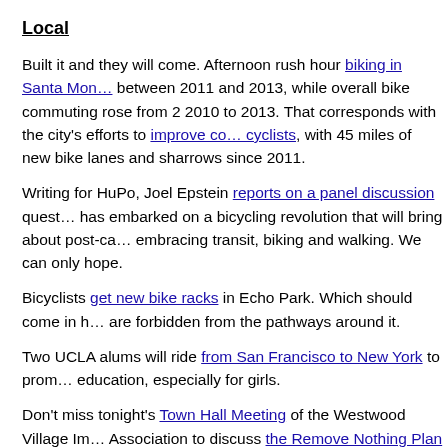Local
Built it and they will come. Afternoon rush hour biking in Santa Monica between 2011 and 2013, while overall bike commuting rose from 2010 to 2013. That corresponds with the city's efforts to improve conditions for cyclists, with 45 miles of new bike lanes and sharrows since 2011.
Writing for HuPo, Joel Epstein reports on a panel discussion questioning whether LA has embarked on a bicycling revolution that will bring about post-car culture by embracing transit, biking and walking. We can only hope.
Bicyclists get new bike racks in Echo Park. Which should come in handy since they are forbidden from the pathways around it.
Two UCLA alums will ride from San Francisco to New York to promote education, especially for girls.
Don't miss tonight's Town Hall Meeting of the Westwood Village Improvement Association to discuss the Remove Nothing Plan for much-needed changes on Westwood Blvd.
CICLE's Tweed, Moxie and Mustaches Ride rolls on Sunday.